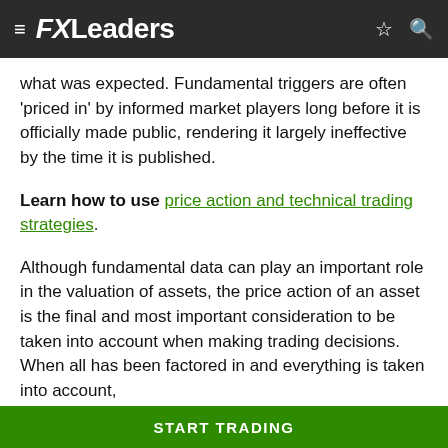FXLeaders
what was expected. Fundamental triggers are often 'priced in' by informed market players long before it is officially made public, rendering it largely ineffective by the time it is published.
Learn how to use price action and technical trading strategies.
Although fundamental data can play an important role in the valuation of assets, the price action of an asset is the final and most important consideration to be taken into account when making trading decisions. When all has been factored in and everything is taken into account,
START TRADING